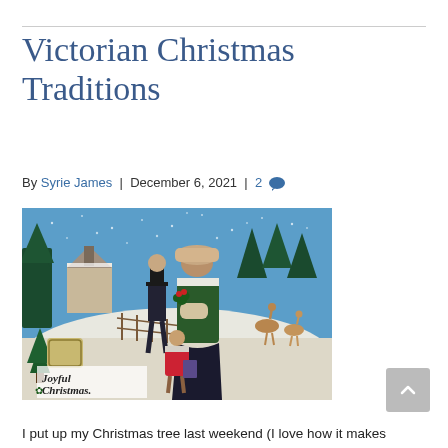Victorian Christmas Traditions
By Syrie James | December 6, 2021 | 2
[Figure (illustration): Victorian Christmas postcard illustration showing a man in top hat and a woman in fur coat and hat carrying holly, with a young girl in red dress, set against a snowy winter landscape with trees, a church, deer, and a fence. Text reads 'Joyful Christmas'.]
I put up my Christmas tree last weekend (I love how it makes